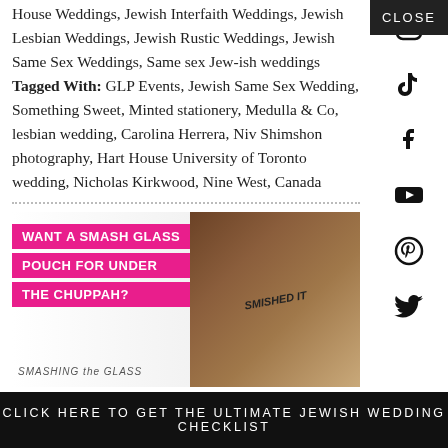House Weddings, Jewish Interfaith Weddings, Jewish Lesbian Weddings, Jewish Rustic Weddings, Jewish Same Sex Weddings, Same sex Jew-ish weddings Tagged With: GLP Events, Jewish Same Sex Wedding, Something Sweet, Minted stationery, Medulla & Co, lesbian wedding, Carolina Herrera, Niv Shimshon photography, Hart House University of Toronto wedding, Nicholas Kirkwood, Nine West, Canada
[Figure (infographic): Advertisement banner for Smashing the Glass: Want a smash glass pouch for under the chuppah? with pink text blocks on left and circular logo/product images on right]
YOU MIGHT ALSO LIKE
CLICK HERE TO GET THE ULTIMATE JEWISH WEDDING CHECKLIST